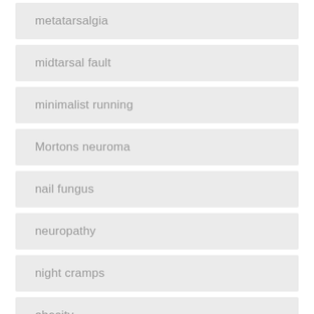metatarsalgia
midtarsal fault
minimalist running
Mortons neuroma
nail fungus
neuropathy
night cramps
obesity